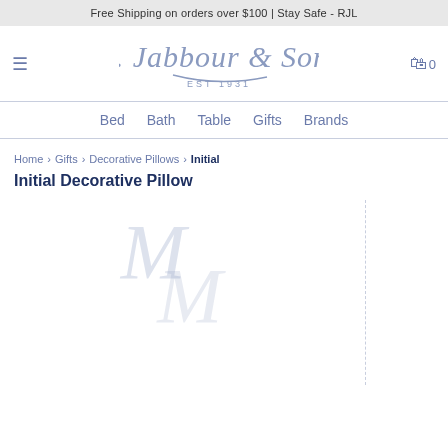Free Shipping on orders over $100 | Stay Safe - RJL
[Figure (logo): R. Jabbour & Sons EST 1931 logo in cursive blue text]
Bed   Bath   Table   Gifts   Brands
Home › Gifts › Decorative Pillows › Initial
Initial Decorative Pillow
[Figure (photo): Product image area showing faint watermark-style letter M initial on white background, with dashed sidebar border on the right]